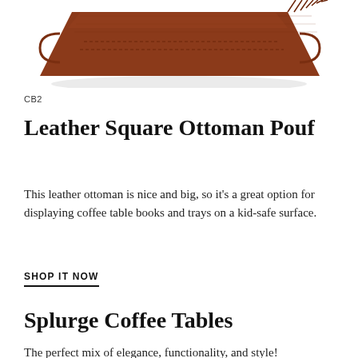[Figure (photo): Partial top view of a brown leather square ottoman pouf, cropped at the top of the page]
CB2
Leather Square Ottoman Pouf
This leather ottoman is nice and big, so it's a great option for displaying coffee table books and trays on a kid-safe surface.
SHOP IT NOW
Splurge Coffee Tables
The perfect mix of elegance, functionality, and style!